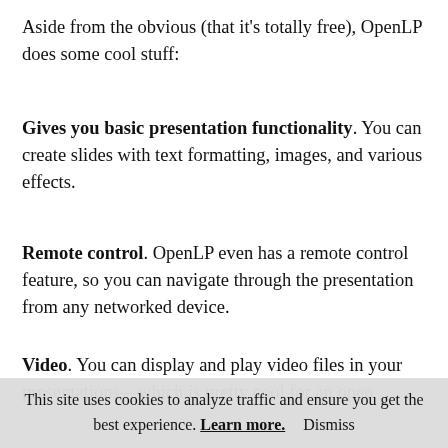Aside from the obvious (that it's totally free), OpenLP does some cool stuff:
Gives you basic presentation functionality. You can create slides with text formatting, images, and various effects.
Remote control. OpenLP even has a remote control feature, so you can navigate through the presentation from any networked device.
Video. You can display and play video files in your presentations—which is pretty cool for an open
This site uses cookies to analyze traffic and ensure you get the best experience. Learn more. Dismiss